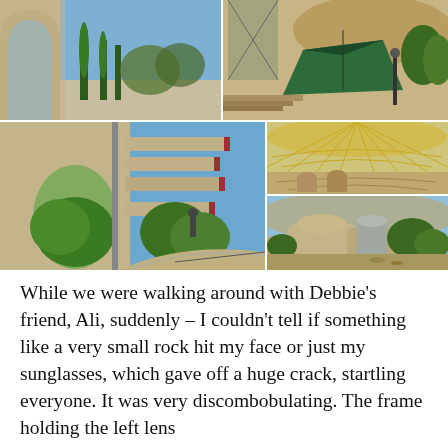[Figure (photo): Collage of five architectural photographs showing buildings and grounds, likely Arcosanti or a similar architectural complex in Arizona. Top left: arched walkway with cypress trees. Top right: aerial view with green tarp/canopy and sandy ground. Middle left (large): concrete wall with oval cutout and abstract sculptural elements projecting outward. Middle right: covered outdoor amphitheater-like space with lattice canopy. Bottom right: overview of rounded concrete buildings with trees.]
While we were walking around with Debbie’s friend, Ali, suddenly – I couldn’t tell if something like a very small rock hit my face or just my sunglasses, which gave off a huge crack, startling everyone. It was very discombobulating. The frame holding the left lens